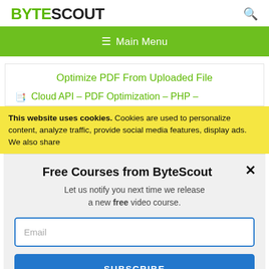BYTESCOUT
[Figure (screenshot): Green navigation bar with hamburger icon and 'Main Menu' text]
Optimize PDF From Uploaded File
Cloud API – PDF Optimization – PHP –
This website uses cookies. Cookies are used to personalize content, analyze traffic, provide social media features, display ads. We also share
Free Courses from ByteScout
Let us notify you next time we release a new free video course.
Email
SUBSCRIBE